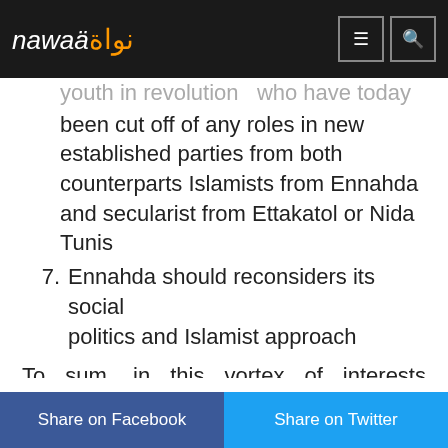nawaa (logo) — navigation icons
youth in revolution  who have today been cut off of any roles in new established parties from both counterparts Islamists from Ennahda and secularist from Ettakatol or Nida Tunis
7. Ennahda should reconsiders its social politics and Islamist approach
To sum, in this vortex of interests and ideological clashes, the recommendation is mainly addressed to the government
Share on Facebook | Share on Twitter